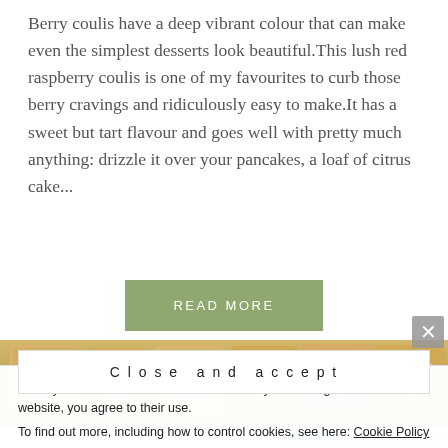Berry coulis have a deep vibrant colour that can make even the simplest desserts look beautiful. This lush red raspberry coulis is one of my favourites to curb those berry cravings and ridiculously easy to make. It has a sweet but tart flavour and goes well with pretty much anything: drizzle it over your pancakes, a loaf of citrus cake...
READ MORE
[Figure (photo): Close-up photo of letter-shaped shortbread cookies dusted with powdered sugar]
Privacy & Cookies: This site uses cookies. By continuing to use this website, you agree to their use. To find out more, including how to control cookies, see here: Cookie Policy
Close and accept